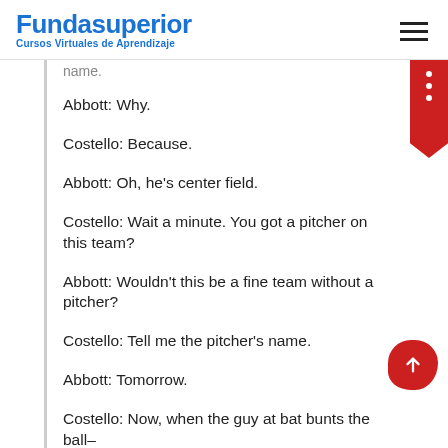Fundasuperior — Cursos Virtuales de Aprendizaje
name.
Abbott: Why.
Costello: Because.
Abbott: Oh, he's center field.
Costello: Wait a minute. You got a pitcher on this team?
Abbott: Wouldn't this be a fine team without a pitcher?
Costello: Tell me the pitcher's name.
Abbott: Tomorrow.
Costello: Now, when the guy at bat bunts the ball–